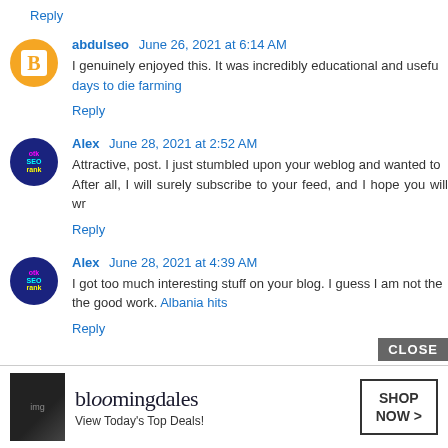Reply
abdulseo  June 26, 2021 at 6:14 AM
I genuinely enjoyed this. It was incredibly educational and useful. days to die farming
Reply
Alex  June 28, 2021 at 2:52 AM
Attractive, post. I just stumbled upon your weblog and wanted to After all, I will surely subscribe to your feed, and I hope you will wr
Reply
Alex  June 28, 2021 at 4:39 AM
I got too much interesting stuff on your blog. I guess I am not the the good work. Albania hits
Reply
[Figure (screenshot): Bloomingdale's advertisement banner: 'View Today's Top Deals!' with 'SHOP NOW >' button and CLOSE button]